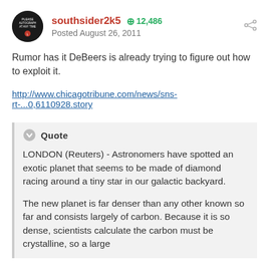[Figure (illustration): Circular avatar image for user southsider2k5, dark background with text 'PLEASE AUTOGRAPH AT ANY TIME']
southsider2k5   + 12,486
Posted August 26, 2011
Rumor has it DeBeers is already trying to figure out how to exploit it.
http://www.chicagotribune.com/news/sns-rt-...0,6110928.story
Quote
LONDON (Reuters) - Astronomers have spotted an exotic planet that seems to be made of diamond racing around a tiny star in our galactic backyard.
The new planet is far denser than any other known so far and consists largely of carbon. Because it is so dense, scientists calculate the carbon must be crystalline, so a large